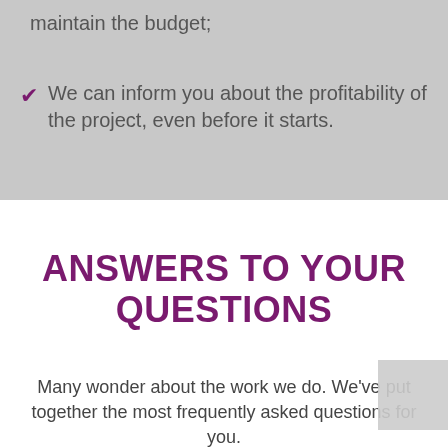maintain the budget;
We can inform you about the profitability of the project, even before it starts.
ANSWERS TO YOUR QUESTIONS
Many wonder about the work we do. We've put together the most frequently asked questions for you.